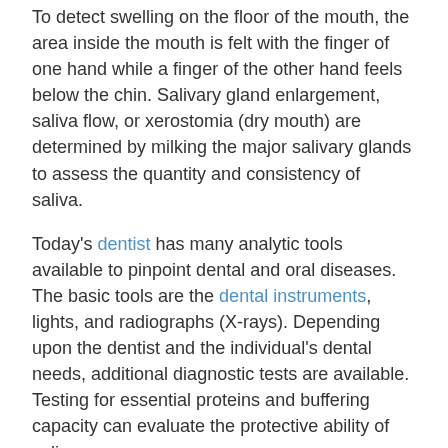To detect swelling on the floor of the mouth, the area inside the mouth is felt with the finger of one hand while a finger of the other hand feels below the chin. Salivary gland enlargement, saliva flow, or xerostomia (dry mouth) are determined by milking the major salivary glands to assess the quantity and consistency of saliva.
Today's dentist has many analytic tools available to pinpoint dental and oral diseases. The basic tools are the dental instruments, lights, and radiographs (X-rays). Depending upon the dentist and the individual's dental needs, additional diagnostic tests are available. Testing for essential proteins and buffering capacity can evaluate the protective ability of saliva.
To determine mouth caries risks, microbiological testing of saliva can measure the level of caries-producing organisms. Periodontal susceptibility tests, which test for the DNA of gum disease-producing organisms, can be performed to assess an individual's risk for gum disease.
If removable dentures are present, they are checked for bite, retention, stability, and overall fit. Dental impressions or models also may be taken to study the mouth and tooth structures to initiate fabrication of prostheses. Photographs may be exposed for a variety of reasons, including before and after treatment